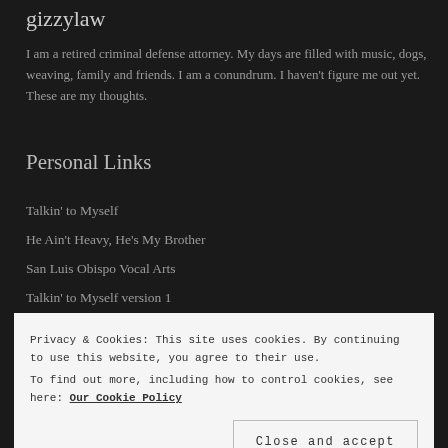gizzylaw
I am a retired criminal defense attorney. My days are filled with music, dogs, weaving, family and friends. I am a conundrum. I haven't figure me out yet. These are my thoughts.
Personal Links
Talkin' to Myself
He Ain't Heavy, He's My Brother
San Luis Obispo Vocal Arts
Talkin' to Myself version 1
View Full Profile →
Privacy & Cookies: This site uses cookies. By continuing to use this website, you agree to their use. To find out more, including how to control cookies, see here: Our Cookie Policy
Close and accept